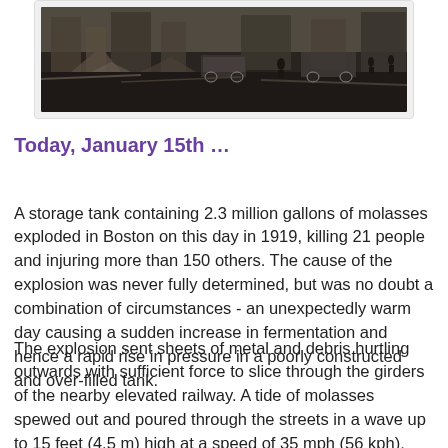[Figure (photo): Black and white historical photograph showing the aftermath of the Boston Molasses Disaster of 1919, with debris, vehicles, and people visible in a street scene.]
Today, January 15th …
A storage tank containing 2.3 million gallons of molasses exploded in Boston on this day in 1919, killing 21 people and injuring more than 150 others. The cause of the explosion was never fully determined, but was no doubt a combination of circumstances - an unexpectedly warm day causing a sudden increase in fermentation and hence a rapid rise in pressure in a poorly constructed and over-filled tank.
The explosion sent sheets of metal and debris hurtling outwards with sufficient force to slice through the girders of the nearby elevated railway. A tide of molasses spewed out and poured through the streets in a wave up to 15 feet (4.5 m) high at a speed of 35 mph (56 kph), knocking buildings off their foundations and proving impossible to outrun. The complexity of the clean-up is hard to imagine, even with the aid of photographs of the disaster. Eventually salt water from